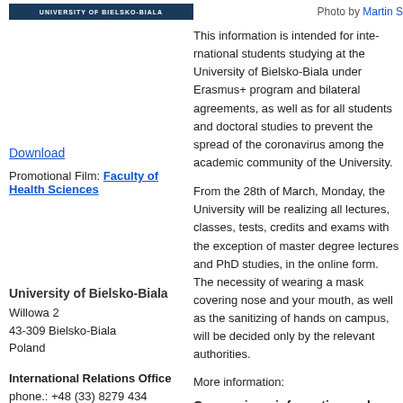[Figure (logo): University of Bielsko-Biala header bar with text]
Photo by Martin S
Download
Promotional Film: Faculty of Health Sciences
University of Bielsko-Biala
Willowa 2
43-309 Bielsko-Biala
Poland
International Relations Office
phone.: +48 (33) 8279 434
skype: iro_unibb
international@ath.bielsko.pl
[Figure (logo): Facebook icon button]
This information is intended for international students studying at the University of Bielsko-Biala under Erasmus+ program and bilateral agreements, as well as for all students and doctoral studies to prevent the spread of the coronavirus among the academic community of the University.
From the 28th of March, Monday, the University will be realizing all lectures, classes, tests, credits and exams with the exception of master degree lectures and PhD studies, in the online form. The necessity of wearing a mask covering nose and your mouth, as well as the sanitizing of hands on campus, will be decided only by the relevant authorities.
More information:
Coronavirus: information and recommendations on the website of the Republic of Poland
- General information
- Temporary limitations
- Questions and answers